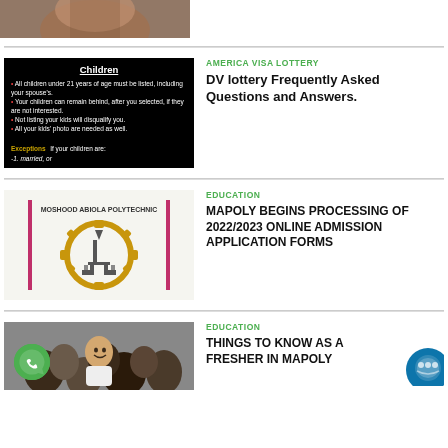[Figure (photo): Partial top image of a person, cropped]
[Figure (illustration): Black background image with 'Children' header and bullet points about DV lottery children requirements]
AMERICA VISA LOTTERY
DV lottery Frequently Asked Questions and Answers.
[Figure (logo): Moshood Abiola Polytechnic logo with gear and tower illustration]
EDUCATION
MAPOLY BEGINS PROCESSING OF 2022/2023 ONLINE ADMISSION APPLICATION FORMS
[Figure (photo): Students in school uniforms smiling at a gathering]
EDUCATION
THINGS TO KNOW AS A FRESHER IN MAPOLY